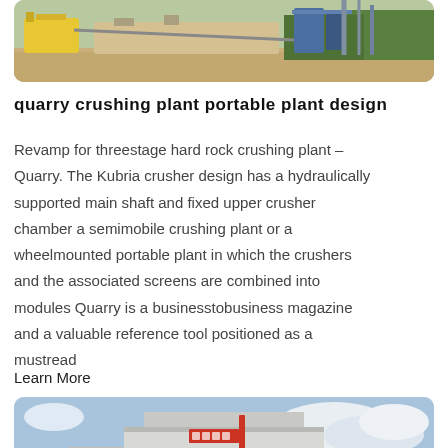[Figure (photo): Outdoor quarry crushing plant equipment — yellow and blue machinery on a sandy/gravel site with green trees in background]
quarry crushing plant portable plant design
Revamp for threestage hard rock crushing plant – Quarry. The Kubria crusher design has a hydraulically supported main shaft and fixed upper crusher chamber a semimobile crushing plant or a wheelmounted portable plant in which the crushers and the associated screens are combined into modules Quarry is a businesstobusiness magazine and a valuable reference tool positioned as a mustread
Learn More
[Figure (photo): Large industrial building — white/grey concrete facility with Chinese text signage, blue sky with clouds in background]